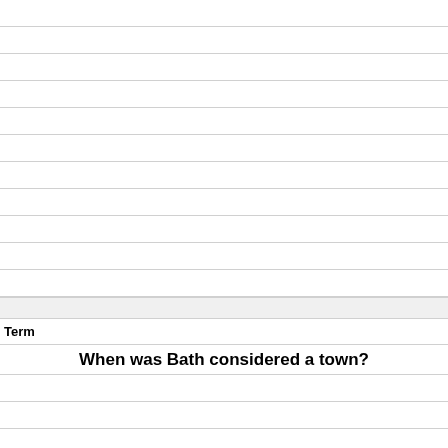Term
When was Bath considered a town?
Definition
1706 - 1707